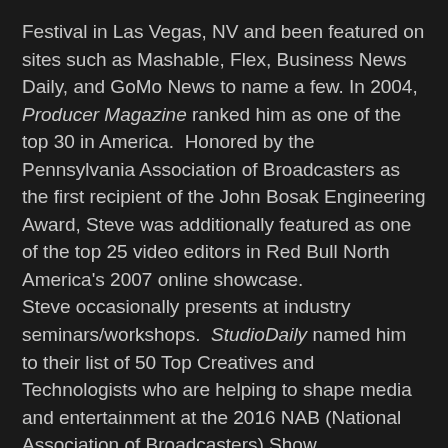Festival in Las Vegas, NV and been featured on sites such as Mashable, Flex, Business News Daily, and GoMo News to name a few. In 2004, Producer Magazine ranked him as one of the top 30 in America.  Honored by the Pennsylvania Association of Broadcasters as the first recipient of the John Bosak Engineering Award, Steve was additionally featured as one of the top 25 video editors in Red Bull North America's 2007 online showcase.
Steve occasionally presents at industry seminars/workshops.  StudioDaily named him to their list of 50 Top Creatives and Technologists who are helping to shape media and entertainment at the 2016 NAB (National Association of Broadcasters) Show.
Trauger has held memberships in the Academy of